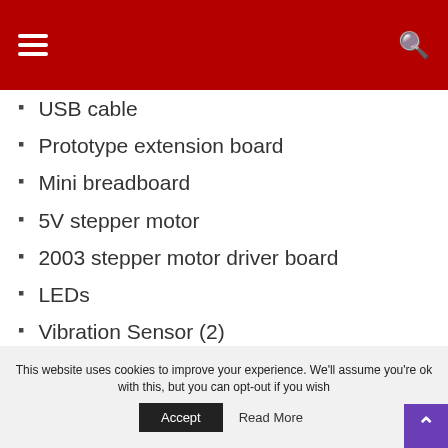Navigation header with hamburger menu and search icon
USB cable
Prototype extension board
Mini breadboard
5V stepper motor
2003 stepper motor driver board
LEDs
Vibration Sensor (2)
Flame sensor
This website uses cookies to improve your experience. We'll assume you're ok with this, but you can opt-out if you wish